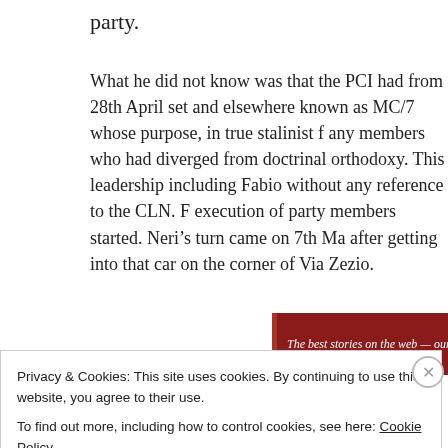party.
What he did not know was that the PCI had from 28th April set and elsewhere known as MC/7 whose purpose, in true stalinist f any members who had diverged from doctrinal orthodoxy. This leadership including Fabio without any reference to the CLN. F execution of party members started. Neri's turn came on 7th Ma after getting into that car on the corner of Via Zezio.
[Figure (other): Red banner with text: The best stories on the web — ours, and everyone e]
Privacy & Cookies: This site uses cookies. By continuing to use this website, you agree to their use.
To find out more, including how to control cookies, see here: Cookie Policy
Close and accept
ABOUT THIS AD